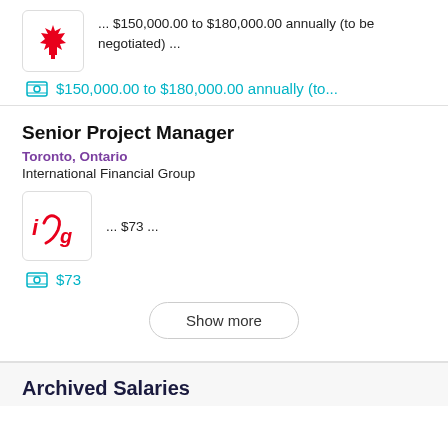... $150,000.00 to $180,000.00 annually (to be negotiated) ...
$150,000.00 to $180,000.00 annually (to...
Senior Project Manager
Toronto, Ontario
International Financial Group
... $73 ...
$73
Show more
Archived Salaries